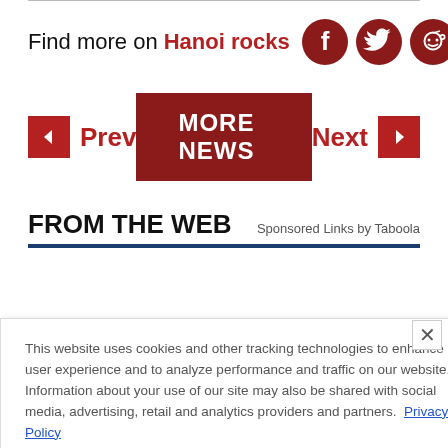Find more on Hanoi rocks
[Figure (infographic): Social media icons: Facebook, Twitter, Reddit, and a link icon — all dark red circles with white symbols]
[Figure (infographic): Navigation row with red left arrow and Prev label, a dark red MORE NEWS button, and Next label with red right arrow]
FROM THE WEB
Sponsored Links by Taboola
This website uses cookies and other tracking technologies to enhance user experience and to analyze performance and traffic on our website. Information about your use of our site may also be shared with social media, advertising, retail and analytics providers and partners. Privacy Policy
[Figure (infographic): Ad banner for 'At The Gates' concert on August 29 at The Fillmore Silver Spring]